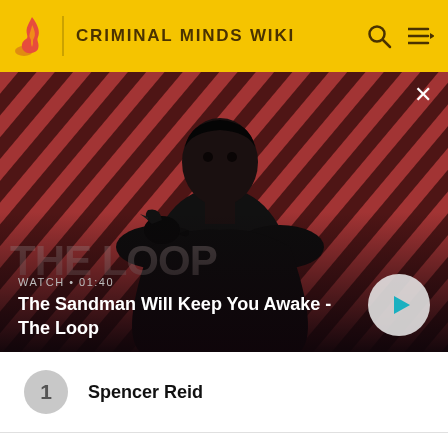CRIMINAL MINDS WIKI
[Figure (screenshot): Video banner showing a dark-clad figure with a raven on shoulder against a red diagonal-striped background. Shows 'WATCH · 01:40' label and play button.]
The Sandman Will Keep You Awake - The Loop
1 Spencer Reid
2 Emily Prentiss